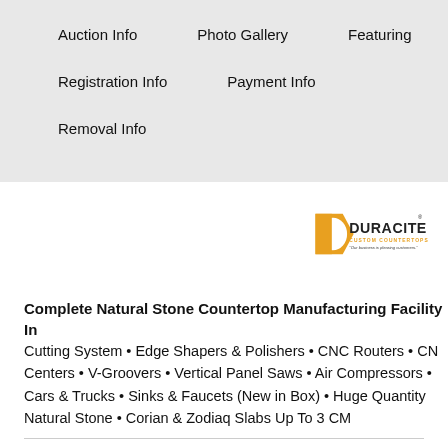Auction Info
Photo Gallery
Featuring
Registration Info
Payment Info
Removal Info
[Figure (logo): Duracite Custom Countertops logo with orange and black text and tagline 'Our business is pleasing customers']
Complete Natural Stone Countertop Manufacturing Facility In... Cutting System • Edge Shapers & Polishers • CNC Routers • CN... Centers • V-Groovers • Vertical Panel Saws • Air Compressors • ... Cars & Trucks • Sinks & Faucets (New in Box) • Huge Quantity... Natural Stone • Corian & Zodiaq Slabs Up To 3 CM
Terms & Conditions